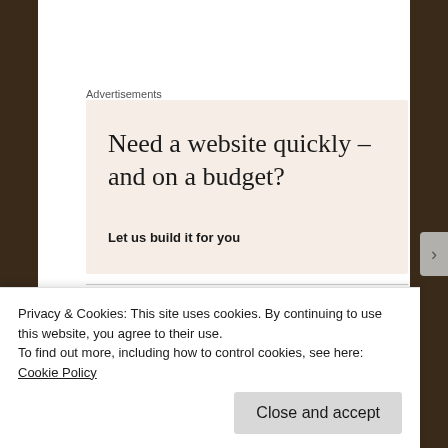Advertisements
[Figure (infographic): Advertisement banner with beige background. Headline: 'Need a website quickly – and on a budget?' Subtext: 'Let us build it for you']
Stéphane CERVETTI
Privacy & Cookies: This site uses cookies. By continuing to use this website, you agree to their use.
To find out more, including how to control cookies, see here: Cookie Policy